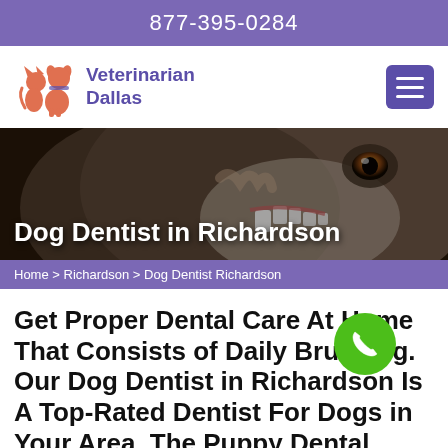877-395-0284
[Figure (logo): Veterinarian Dallas logo with dog and cat silhouette in orange/coral color]
Veterinarian Dallas
[Figure (photo): Close-up photo of a dog's mouth/teeth being examined]
Dog Dentist in Richardson
Home > Richardson > Dog Dentist Richardson
Get Proper Dental Care At Home That Consists of Daily Brushing. Our Dog Dentist in Richardson Is A Top-Rated Dentist For Dogs in Your Area. The Puppy Dental